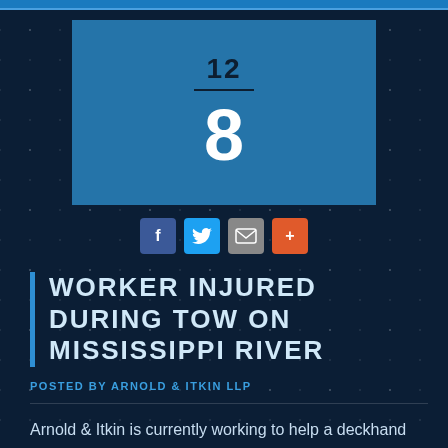[Figure (infographic): Blue calendar/date box showing '12' on top with a divider and large '8' below on a medium blue background, representing a date (December 8)]
[Figure (infographic): Row of four social sharing icons: Facebook (blue), Twitter (light blue), Email (grey), and a red/orange plus button]
WORKER INJURED DURING TOW ON MISSISSIPPI RIVER
POSTED BY ARNOLD & ITKIN LLP
Arnold & Itkin is currently working to help a deckhand injured while working on a towboat on the Mississippi